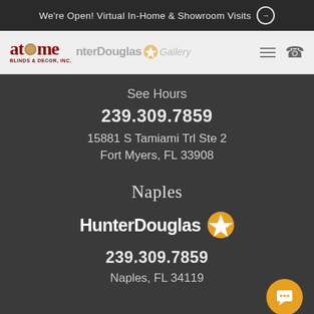We're Open! Virtual In-Home & Showroom Visits →
[Figure (logo): At Home Blinds & Decor Inc. logo with HunterDouglas Gallery navigation bar]
See Hours
239.309.7859
15881 S Tamiami Trl Ste 2
Fort Myers, FL 33908
Naples
[Figure (logo): HunterDouglas logo with orange star icon]
239.309.7859
Naples, FL 34119